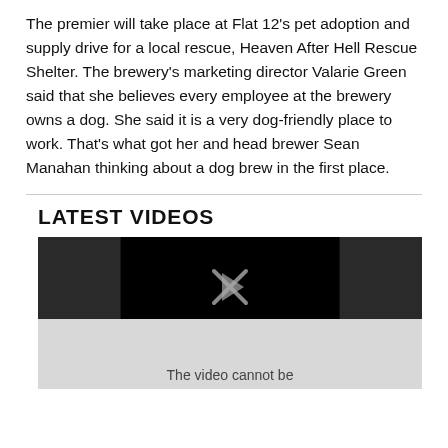The premier will take place at Flat 12's pet adoption and supply drive for a local rescue, Heaven After Hell Rescue Shelter. The brewery's marketing director Valarie Green said that she believes every employee at the brewery owns a dog. She said it is a very dog-friendly place to work. That's what got her and head brewer Sean Manahan thinking about a dog brew in the first place.
LATEST VIDEOS
[Figure (screenshot): A video player screenshot showing a dark background with a black inner box and a play button arrow icon. Below is a light gray area with text 'The video cannot be']